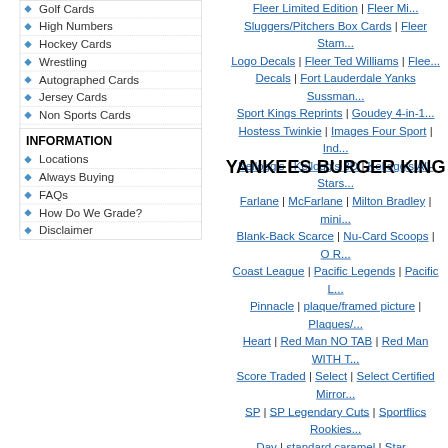Golf Cards
High Numbers
Hockey Cards
Wrestling
Autographed Cards
Jersey Cards
Non Sports Cards
Player & Team Lots
Magazines/Programs
Sports Memorabilia
Supplies
Toys & Figurines
Latest Cards
INFORMATION
Locations
Always Buying
FAQs
How Do We Grade?
Disclaimer
Fleer Limited Edition | Fleer Mi... Sluggers/Pitchers Box Cards | Fleer Stam... Logo Decals | Fleer Ted Williams | Flee... Decals | Fort Lauderdale Yanks Sussman... Sport Kings Reprints | Goudey 4-in-1... Hostess Twinkie | Images Four Sport | Ind... Kellogg's | Kellogg's 3D | Kellogg's All-Stars... Farlane | McFarlane | Milton Bradley | mini... Blank-Back Scarce | Nu-Card Scoops | O R... Coast League | Pacific Legends | Pacific L... Pinnacle | plaque/framed picture | Plaques/... Heart | Red Man NO TAB | Red Man WITH T... Score Traded | Select | Select Certified Mirror... SP | SP Legendary Cuts | Sportflics Rookies... Day | standard caramel | Star... Dodgers/Angels | Tacoma Tigers TCMA |... Topps Advertising Panels | Topps Allen and... Topps Booklets | Topps Cereal | Topps Ch... Deckle Edge | Topps Embossed | Topps Fine... Topps Glossy Send-Ins | Topps Greatest Mo... Renditions | Topps Heritage Flashbacks |... Rub-Offs | Topps Mini | Topps Mini Leaders... Topps Pristine | Topps Red Backs | Top... Stamps | Topps Stand-Ups | Topps Sticker Bo... Checklist | Topps Team Checklists | Topps Tiff... Transfers Inserts | Topps Tribute | Topps V... Rookies | Transogram Statues Cards | T... Upper Deck Minors | Upper Deck Sonic | Uppe...
YANKEES BURGER KING BAS...